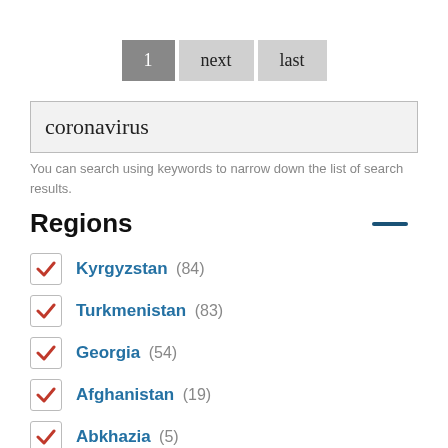[Figure (other): Pagination control with buttons: 1 (active/dark), next, last]
coronavirus
You can search using keywords to narrow down the list of search results.
Regions
Kyrgyzstan (84)
Turkmenistan (83)
Georgia (54)
Afghanistan (19)
Abkhazia (5)